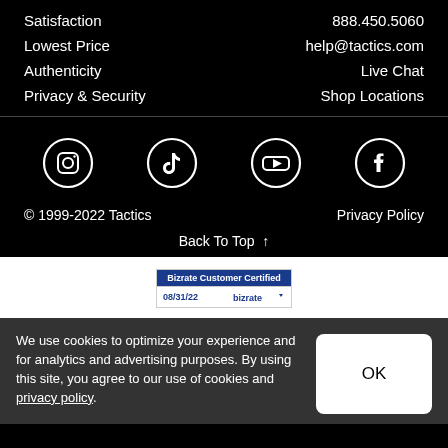Satisfaction
888.450.5060
Lowest Price
help@tactics.com
Authenticity
Live Chat
Privacy & Security
Shop Locations
[Figure (infographic): Social media icons: Instagram, TikTok, YouTube, Facebook — white circles on black background]
© 1999-2022 Tactics
Privacy Policy
Back To Top ↑
[Figure (logo): Bizrate Customer Certified badge dated 08/31/22 with bizrate logo]
We use cookies to optimize your experience and for analytics and advertising purposes. By using this site, you agree to our use of cookies and privacy policy.